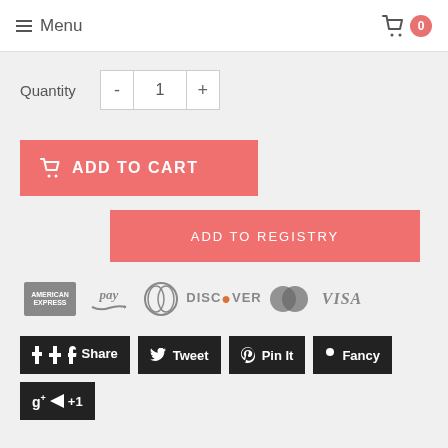Menu  0
Quantity  -  1  +
[Figure (screenshot): ADD TO CART button (salmon/coral color) with shopping cart icon]
[Figure (screenshot): ADD TO REGISTRY button (salmon/coral color)]
[Figure (screenshot): Payment icons: American Express, Amazon Pay, Diners Club, Discover, MasterCard, VISA]
[Figure (screenshot): Social share buttons: Share (Facebook), Tweet (Twitter), Pin It (Pinterest), Fancy, g+ +1 (Google Plus)]